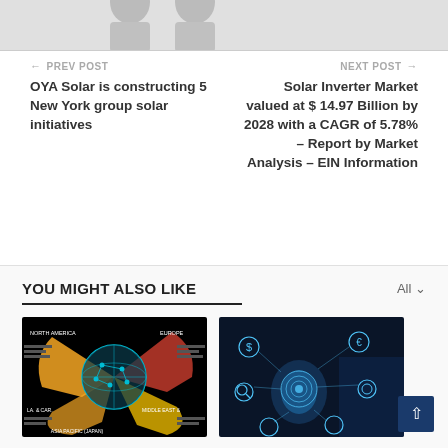[Figure (photo): Partial view of two figures/people at the top, partially cropped]
← PREV POST
OYA Solar is constructing 5 New York group solar initiatives
NEXT POST →
Solar Inverter Market valued at $ 14.97 Billion by 2028 with a CAGR of 5.78% – Report by Market Analysis – EIN Information
YOU MIGHT ALSO LIKE
[Figure (infographic): Dark background infographic with globe network diagram showing regions: North America, Europe, Latin America, Middle East, Asia Pacific (Japan); colored segments in orange, red, yellow, blue]
[Figure (photo): Photo of a hand holding a glowing fingerprint/digital icon with network icons on dark blue background]